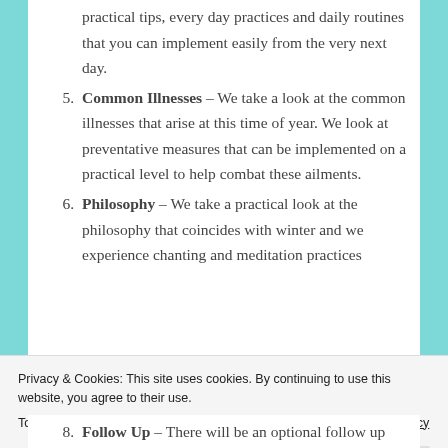practical tips, every day practices and daily routines that you can implement easily from the very next day.
Common Illnesses – We take a look at the common illnesses that arise at this time of year. We look at preventative measures that can be implemented on a practical level to help combat these ailments.
Philosophy – We take a practical look at the philosophy that coincides with winter and we experience chanting and meditation practices
Privacy & Cookies: This site uses cookies. By continuing to use this website, you agree to their use.
To find out more, including how to control cookies, see here: Cookie Policy
Follow Up – There will be an optional follow up